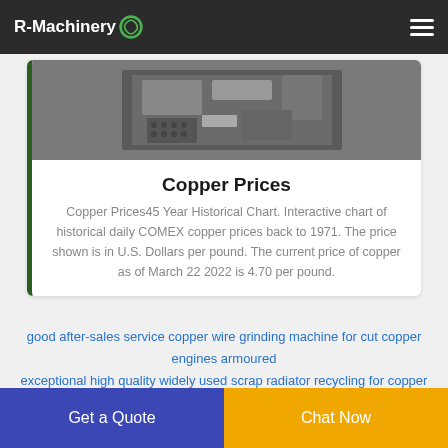R-Machinery
[Figure (photo): Close-up photo of a copper wire grinding/cutting machine showing metal components and perforated parts]
Copper Prices
Copper Prices45 Year Historical Chart. Interactive chart of historical daily COMEX copper prices back to 1971. The price shown is in U.S. Dollars per pound. The current price of copper as of March 22 2022 is 4.70 per pound.
good after-sales service copper wire grinding machine for cut copper engines armoured
exceptional high quality widely used scrap radiator recycling for copper with high output
Get a Quote
Chat Now